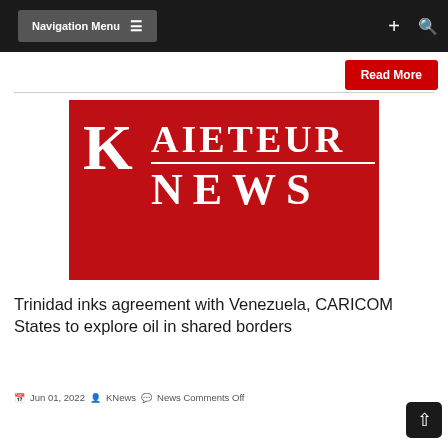Navigation Menu
Read More
[Figure (logo): Kaieteur News logo: large red background with white serif text showing a large K on the left, AIETEUR on the top right, and NEWS on the bottom right with a horizontal divider line between them.]
Trinidad inks agreement with Venezuela, CARICOM States to explore oil in shared borders
Jun 01, 2022  KNews  News Comments Off